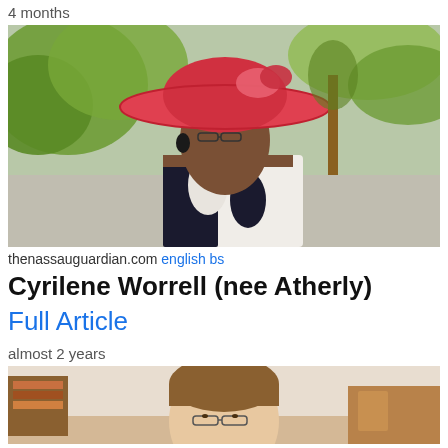4 months
[Figure (photo): Woman wearing a large red/pink hat and black-and-white patterned sleeveless top, standing outdoors with green foliage in the background.]
thenassauguardian.com english bs
Cyrilene Worrell (nee Atherly)
Full Article
almost 2 years
[Figure (photo): Partial photo of a person with short brown hair and glasses, indoors with wooden furniture visible in the background.]